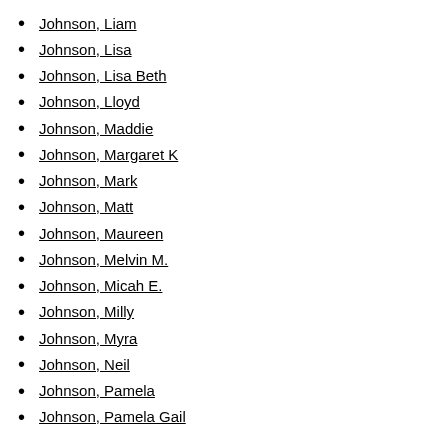Johnson, Liam
Johnson, Lisa
Johnson, Lisa Beth
Johnson, Lloyd
Johnson, Maddie
Johnson, Margaret K
Johnson, Mark
Johnson, Matt
Johnson, Maureen
Johnson, Melvin M.
Johnson, Micah E.
Johnson, Milly
Johnson, Myra
Johnson, Neil
Johnson, Pamela
Johnson, Pamela Gail